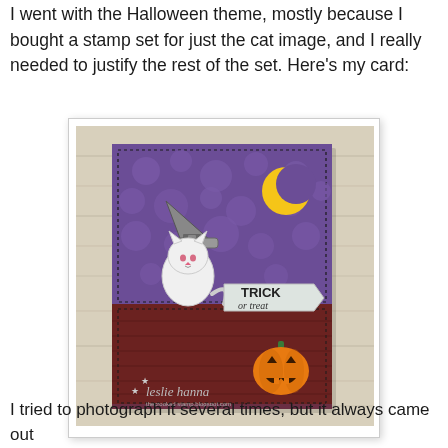I went with the Halloween theme, mostly because I bought a stamp set for just the cat image, and I really needed to justify the rest of the set. Here's my card:
[Figure (photo): A handmade Halloween greeting card featuring a white cat wearing a witch hat on a purple polka-dot background with a crescent moon, a 'TRICK or treat' banner, and a jack-o'-lantern pumpkin on a dark red/brown lower panel. The card is signed 'leslie hanna' at the bottom.]
I tried to photograph it several times, but it always came out